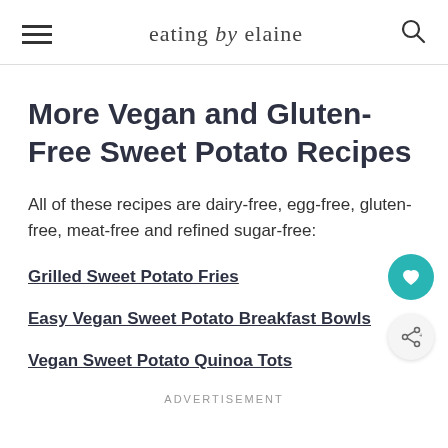eating by elaine
More Vegan and Gluten-Free Sweet Potato Recipes
All of these recipes are dairy-free, egg-free, gluten-free, meat-free and refined sugar-free:
Grilled Sweet Potato Fries
Easy Vegan Sweet Potato Breakfast Bowls
Vegan Sweet Potato Quinoa Tots
ADVERTISEMENT